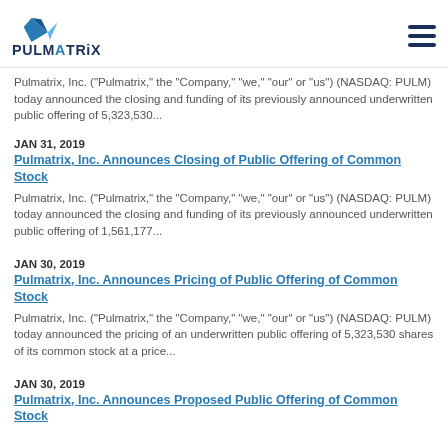PULMATRIX
Pulmatrix, Inc. ("Pulmatrix," the "Company," "we," "our" or "us") (NASDAQ: PULM) today announced the closing and funding of its previously announced underwritten public offering of 5,323,530...
JAN 31, 2019
Pulmatrix, Inc. Announces Closing of Public Offering of Common Stock
Pulmatrix, Inc. ("Pulmatrix," the "Company," "we," "our" or "us") (NASDAQ: PULM) today announced the closing and funding of its previously announced underwritten public offering of 1,561,177...
JAN 30, 2019
Pulmatrix, Inc. Announces Pricing of Public Offering of Common Stock
Pulmatrix, Inc. ("Pulmatrix," the "Company," "we," "our" or "us") (NASDAQ: PULM) today announced the pricing of an underwritten public offering of 5,323,530 shares of its common stock at a price...
JAN 30, 2019
Pulmatrix, Inc. Announces Proposed Public Offering of Common Stock